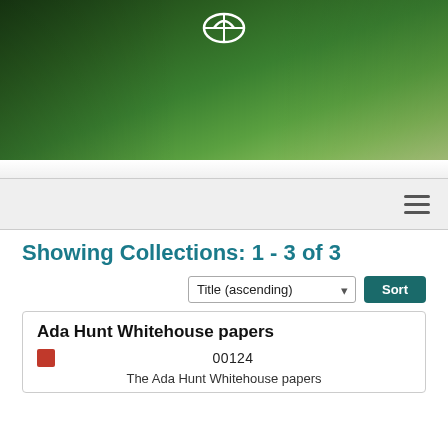[Figure (photo): Green forest/mountain landscape header banner with a white logo at the top center]
Navigation bar with hamburger menu icon
Showing Collections: 1 - 3 of 3
Sort control: Title (ascending) with Sort button
Ada Hunt Whitehouse papers
00124
The Ada Hunt Whitehouse papers